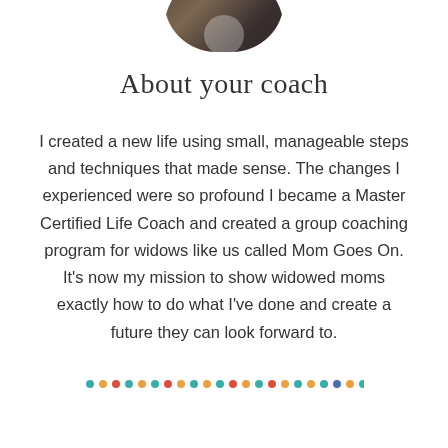[Figure (photo): Partial circular photo of coach at top of page, cropped at bottom of circle]
About your coach
I created a new life using small, manageable steps and techniques that made sense. The changes I experienced were so profound I became a Master Certified Life Coach and created a group coaching program for widows like us called Mom Goes On. It’s now my mission to show widowed moms exactly how to do what I’ve done and create a future they can look forward to.
[Figure (other): Row of small colorful dots in teal, orange, red, teal, orange, teal, red, orange, teal, orange, teal, red, orange, teal, red, orange, teal, orange, teal, blue, orange pattern]